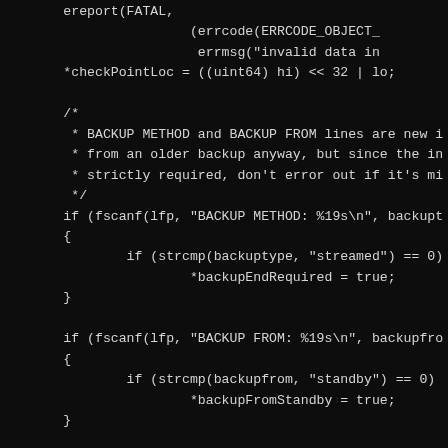[Figure (screenshot): Source code snippet in C showing PostgreSQL backup-related code with ereport(FATAL), errcode, errmsg, checkPointLoc assignment, a comment block about BACKUP METHOD and BACKUP FROM lines, and fscanf-based parsing with strcmp checks for 'streamed' and 'standby' backup types.]